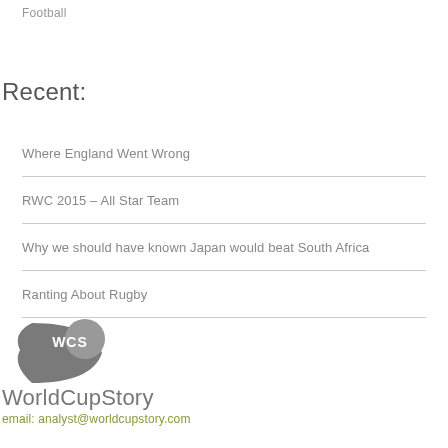Football
Recent:
Where England Went Wrong
RWC 2015 – All Star Team
Why we should have known Japan would beat South Africa
Ranting About Rugby
[Figure (logo): WorldCupStory logo with WCS emblem and email address analyst@worldcupstory.com]